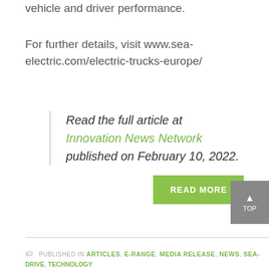vehicle and driver performance.
For further details, visit www.sea-electric.com/electric-trucks-europe/
Read the full article at Innovation News Network published on February 10, 2022.
READ MORE
PUBLISHED IN ARTICLES, E-RANGE, MEDIA RELEASE, NEWS, SEA-DRIVE, TECHNOLOGY